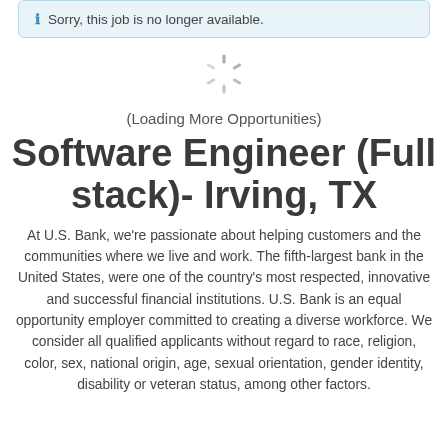Sorry, this job is no longer available.
[Figure (other): Loading spinner icon]
(Loading More Opportunities)
Software Engineer (Full stack)- Irving, TX
At U.S. Bank, we're passionate about helping customers and the communities where we live and work. The fifth-largest bank in the United States, were one of the country's most respected, innovative and successful financial institutions. U.S. Bank is an equal opportunity employer committed to creating a diverse workforce. We consider all qualified applicants without regard to race, religion, color, sex, national origin, age, sexual orientation, gender identity, disability or veteran status, among other factors.